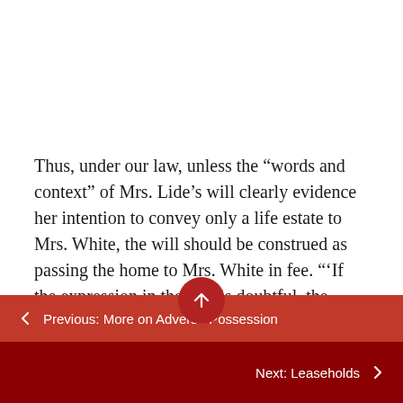Thus, under our law, unless the “words and context” of Mrs. Lide’s will clearly evidence her intention to convey only a life estate to Mrs. White, the will should be construed as passing the home to Mrs. White in fee. “‘If the expression in the will is doubtful, the doubt is resolved against the limitation and in favor of the absolute estate.’”
← Previous: More on Adverse Possession
Next: Leaseholds →